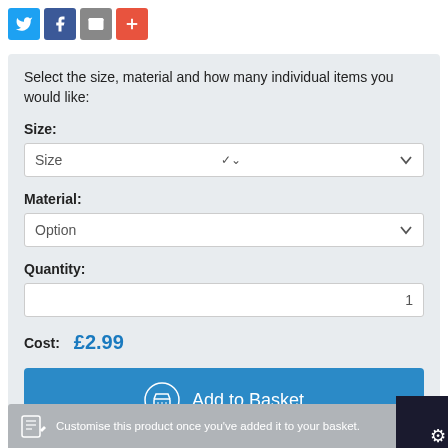[Figure (infographic): Social sharing icons: Twitter (blue), Facebook (dark blue), Email (grey), Plus/More (red-orange)]
Select the size, material and how many individual items you would like:
Size:
[Figure (screenshot): Size dropdown selector showing placeholder 'Size' with chevron]
Material:
[Figure (screenshot): Material dropdown selector showing placeholder 'Option' with chevron]
Quantity:
[Figure (screenshot): Quantity input field showing value 1]
Cost: £2.99
[Figure (screenshot): Blue 'Add to Basket' button with basket icon]
Customise this product once you've added it to your basket.